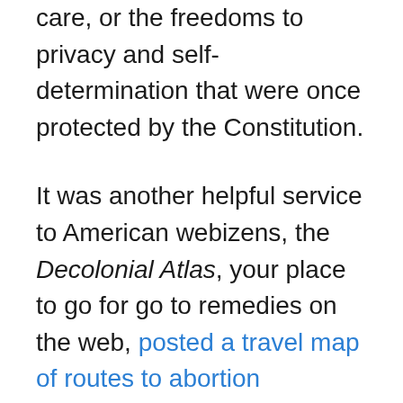care, or the freedoms to privacy and self-determination that were once protected by the Constitution.
It was another helpful service to American webizens, the Decolonial Atlas, your place to go for go to remedies on the web, posted a travel map of routes to abortion providers in southern states, collating affordable transit routes to clinics that would provide abortion services–services that were still technically “legal” but out of the range of many, and prohibitively expensive for most in need of them. The bus routes women might take to